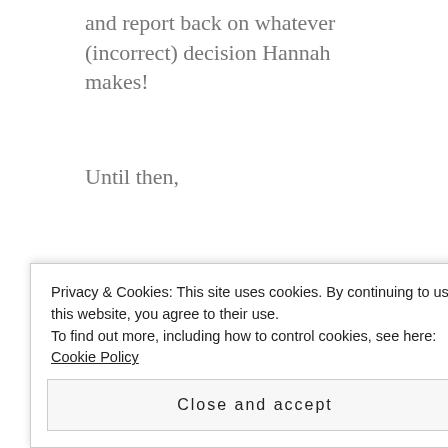and report back on whatever (incorrect) decision Hannah makes!
Until then,
TW
Sponsored Content
Privacy & Cookies: This site uses cookies. By continuing to use this website, you agree to their use.
To find out more, including how to control cookies, see here: Cookie Policy
Close and accept